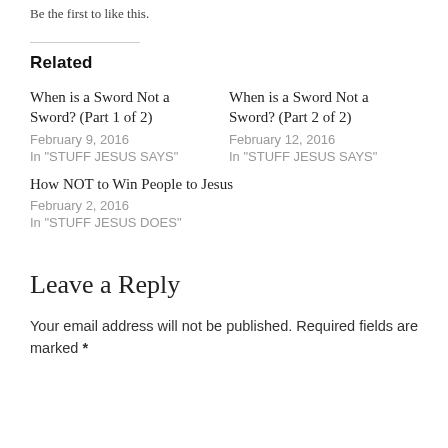Be the first to like this.
Related
When is a Sword Not a Sword? (Part 1 of 2)
February 9, 2016
In "STUFF JESUS SAYS"
When is a Sword Not a Sword? (Part 2 of 2)
February 12, 2016
In "STUFF JESUS SAYS"
How NOT to Win People to Jesus
February 2, 2016
In "STUFF JESUS DOES"
Leave a Reply
Your email address will not be published. Required fields are marked *